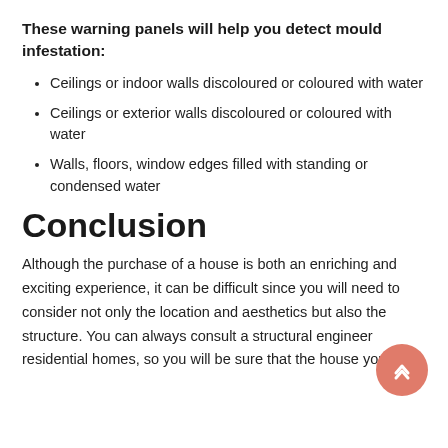These warning panels will help you detect mould infestation:
Ceilings or indoor walls discoloured or coloured with water
Ceilings or exterior walls discoloured or coloured with water
Walls, floors, window edges filled with standing or condensed water
Conclusion
Although the purchase of a house is both an enriching and exciting experience, it can be difficult since you will need to consider not only the location and aesthetics but also the structure. You can always consult a structural engineer residential homes, so you will be sure that the house you plan